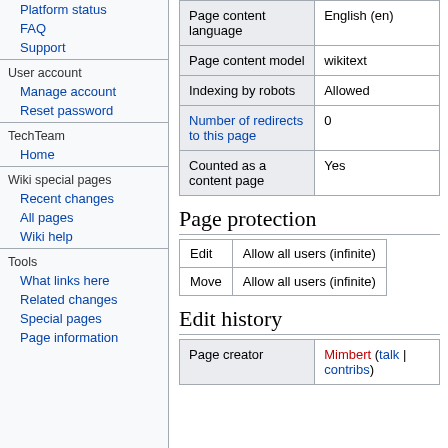Platform status
FAQ
Support
User account
Manage account
Reset password
TechTeam
Home
Wiki special pages
Recent changes
All pages
Wiki help
Tools
What links here
Related changes
Special pages
Page information
|  |  |
| --- | --- |
| Page content language | English (en) |
| Page content model | wikitext |
| Indexing by robots | Allowed |
| Number of redirects to this page | 0 |
| Counted as a content page | Yes |
Page protection
| Edit | Move |
| --- | --- |
| Edit | Allow all users (infinite) |
| Move | Allow all users (infinite) |
Edit history
|  |  |
| --- | --- |
| Page creator | Mimbert (talk | contribs) |